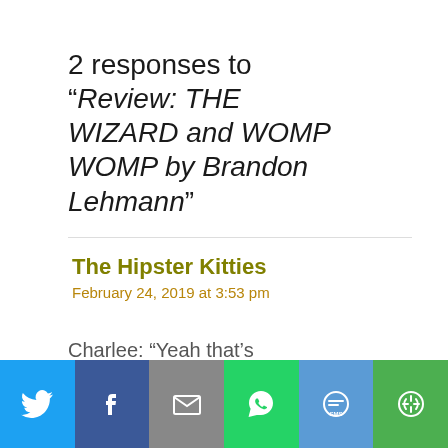2 responses to “Review: THE WIZARD and WOMP WOMP by Brandon Lehmann”
The Hipster Kitties
February 24, 2019 at 3:53 pm
Charlee: “Yeah that’s
[Figure (infographic): Social sharing bar with icons for Twitter, Facebook, Email, WhatsApp, SMS, and a share/refresh button]